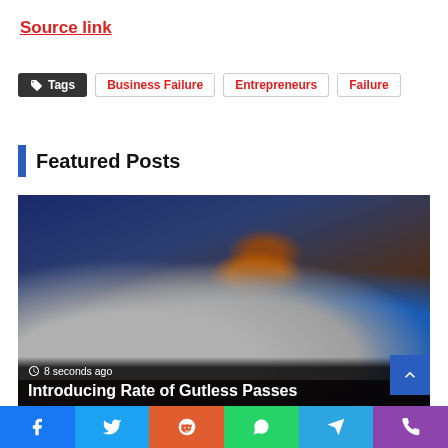Source link
Tags  Business Failure  Entrepreneurs  Failure
Featured Posts
[Figure (photo): NFL game action photo showing New England Patriots players (#93, #33, Van Nuy #53) with hands raised trying to block a pass, and a Buffalo Bills quarterback throwing the football in a night game]
Introducing Rate of Gutless Passes
8 seconds ago